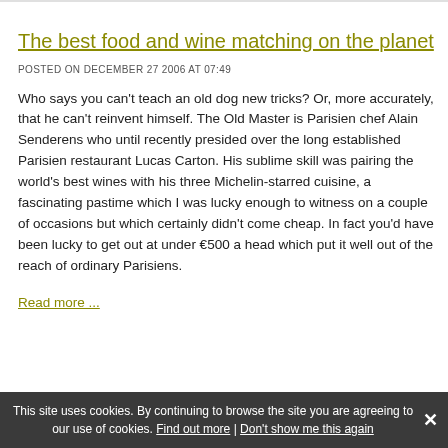The best food and wine matching on the planet
POSTED ON DECEMBER 27 2006 AT 07:49
Who says you can't teach an old dog new tricks? Or, more accurately, that he can't reinvent himself. The Old Master is Parisien chef Alain Senderens who until recently presided over the long established Parisien restaurant Lucas Carton. His sublime skill was pairing the world's best wines with his three Michelin-starred cuisine, a fascinating pastime which I was lucky enough to witness on a couple of occasions but which certainly didn't come cheap. In fact you'd have been lucky to get out at under €500 a head which put it well out of the reach of ordinary Parisiens.
Read more ...
This site uses cookies. By continuing to browse the site you are agreeing to our use of cookies. Find out more | Don't show me this again